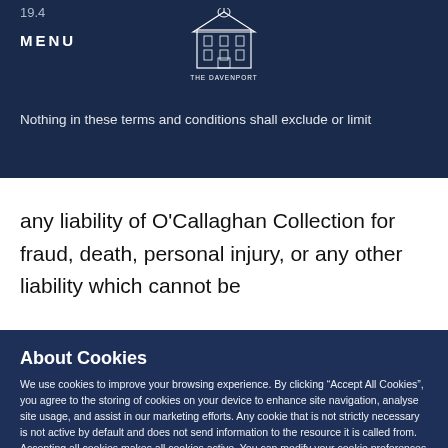19.4
MENU
[Figure (logo): The Davenport hotel logo — building illustration with text 'THE DAVENPORT' beneath]
Nothing in these terms and conditions shall exclude or limit any liability of O'Callaghan Collection for fraud, death, personal injury, or any other liability which cannot be
About Cookies
We use cookies to improve your browsing experience. By clicking “Accept All Cookies”, you agree to the storing of cookies on your device to enhance site navigation, analyse site usage, and assist in our marketing efforts. Any cookie that is not strictly necessary is not active by default and does not send information to the resource it is called from. Accepting all cookies makes all cookies active. You can modify your cookie preferences by clicking on cookie settings within our Cookie Policy
Cookies Settings
Accept All Cookies